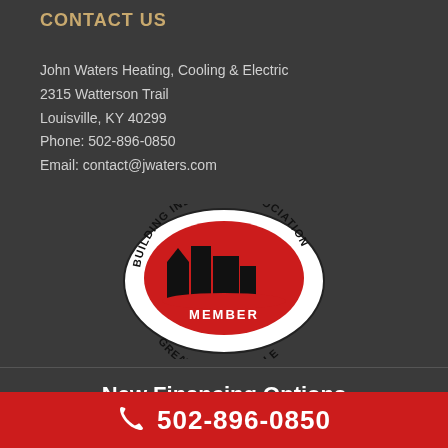CONTACT US
John Waters Heating, Cooling & Electric
2315 Watterson Trail
Louisville, KY 40299
Phone: 502-896-0850
Email: contact@jwaters.com
[Figure (logo): Building Industry Association Member Greater Louisville oval logo with red background and building silhouette]
New Financing Options
502-896-0850